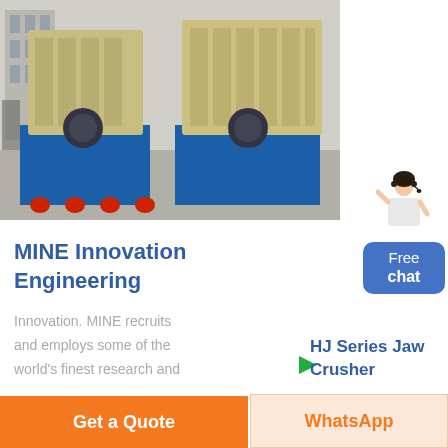[Figure (photo): Industrial mining/sand-washing machines with blue steel bases and tan/beige vibratory screen frames, parked outdoors in front of a building. Two large units visible side by side.]
[Figure (illustration): Customer service avatar – a woman in white top with headset, raising one hand. Used as a chat widget icon.]
Free chat
MINE Innovation Engineering
Innovation. MINE recruits and employs some of the world's finest research and
[Figure (other): Small green right-pointing play/arrow triangle button]
HJ Series Jaw Crusher
Get a Quote
WhatsApp